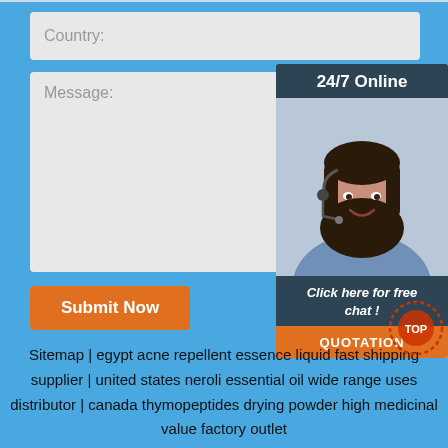Country:
Message:
Submit Now
[Figure (illustration): 24/7 Online chat widget with a smiling woman wearing a headset, a 'Click here for free chat!' message, and a QUOTATION button]
Sitemap | egypt acne repellent essence liquid fast shipping supplier | united states neroli essential oil wide range uses distributor | canada thymopeptides drying powder high medicinal value factory outlet